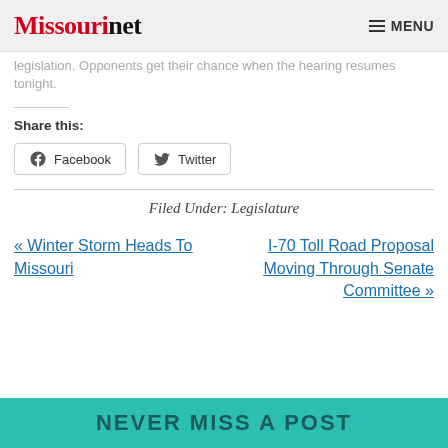Missourinet  MENU
legislation. Opponents get their chance when the hearing resumes tonight.
Share this:
Facebook  Twitter
Filed Under: Legislature
« Winter Storm Heads To Missouri
I-70 Toll Road Proposal Moving Through Senate Committee »
NEVER MISS A POST